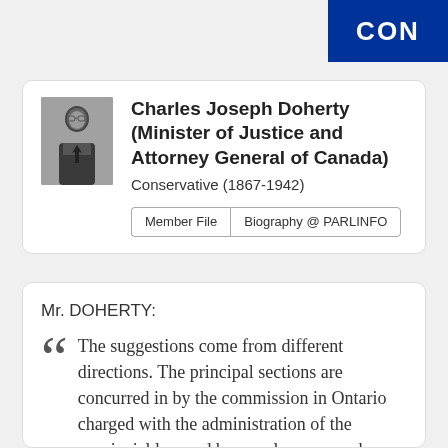CON
[Figure (photo): Black and white portrait photo of Charles Joseph Doherty]
Charles Joseph Doherty (Minister of Justice and Attorney General of Canada)
Conservative (1867-1942)
Member File | Biography @ PARLINFO
Mr. DOHERTY:
The suggestions come from different directions. The principal sections are concurred in by the commission in Ontario charged with the administration of the provincial law and by people very much interested in the enforcement of